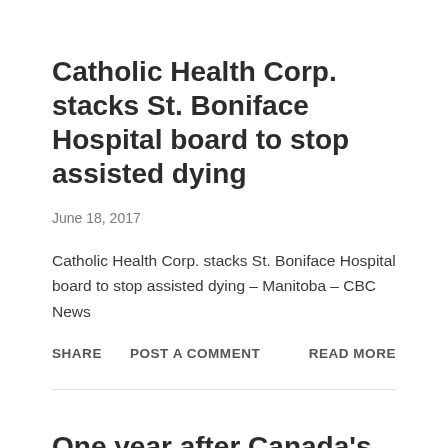Catholic Health Corp. stacks St. Boniface Hospital board to stop assisted dying
June 18, 2017
Catholic Health Corp. stacks St. Boniface Hospital board to stop assisted dying – Manitoba – CBC News
SHARE   POST A COMMENT   READ MORE
One year after Canada's medically